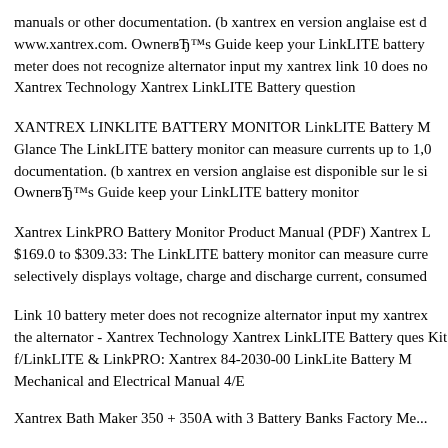manuals or other documentation. (b xantrex en version anglaise est d www.xantrex.com. Ownerß‰™s Guide keep your LinkLITE battery meter does not recognize alternator input my xantrex link 10 does no Xantrex Technology Xantrex LinkLITE Battery question
XANTREX LINKLITE BATTERY MONITOR LinkLITE Battery M Glance The LinkLITE battery monitor can measure currents up to 1,0 documentation. (b xantrex en version anglaise est disponible sur le si Ownerß‰™s Guide keep your LinkLITE battery monitor
Xantrex LinkPRO Battery Monitor Product Manual (PDF) Xantrex L $169.0 to $309.33: The LinkLITE battery monitor can measure curre selectively displays voltage, charge and discharge current, consumed
Link 10 battery meter does not recognize alternator input my xantrex the alternator - Xantrex Technology Xantrex LinkLITE Battery ques Kit f/LinkLITE & LinkPRO: Xantrex 84-2030-00 LinkLite Battery M Mechanical and Electrical Manual 4/E
Xantrex Bath Maker 350 + 350A with 3 Battery Banks Factory Me...